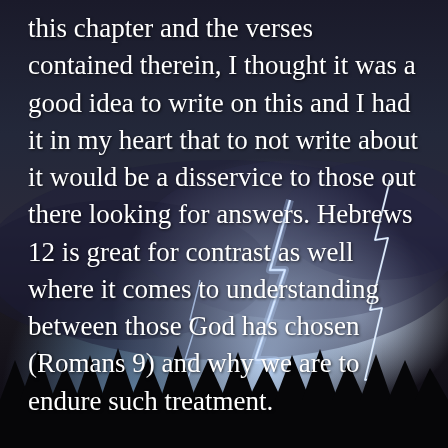[Figure (photo): Dark stormy night sky with dramatic lightning bolts striking in the background, silhouettes of trees at the bottom, dark purple-blue clouds]
this chapter and the verses contained therein, I thought it was a good idea to write on this and I had it in my heart that to not write about it would be a disservice to those out there looking for answers. Hebrews 12 is great for contrast as well where it comes to understanding between those God has chosen (Romans 9) and why we are to endure such treatment.
God decides who to grant mercy to and we do not choose it nor work for it.  He will harden the hearts of some so that they don't listen or comprehend those who do good.  If you stop and think about it, the Lord is being very merciful to those who act